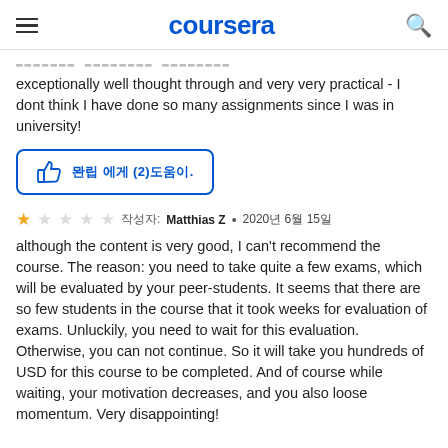coursera
exceptionally well thought through and very very practical - I dont think I have done so many assignments since I was in university!
[Figure (other): Thumbs up helpful button with text indicating 2 people found this helpful]
★☆☆☆☆  작성자: Matthias Z • 2020년 6월 15일
although the content is very good, I can't recommend the course. The reason: you need to take quite a few exams, which will be evaluated by your peer-students. It seems that there are so few students in the course that it took weeks for evaluation of exams. Unluckily, you need to wait for this evaluation. Otherwise, you can not continue. So it will take you hundreds of USD for this course to be completed. And of course while waiting, your motivation decreases, and you also loose momentum. Very disappointing!